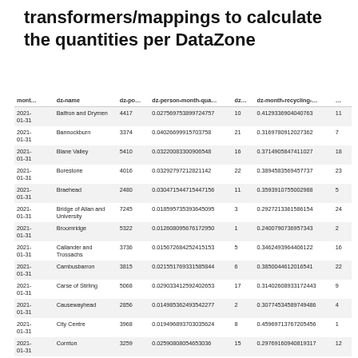transformers/mappings to calculate the quantities per DataZone
| mont… | dz-name | dz-po… | dz-person-month-qua… | dz… | dz-month-recycling-… | … |
| --- | --- | --- | --- | --- | --- | --- |
| 2021-01-31 | Balfron and Drymen | 4417 | 0.027569753899724757 | 10 | 0.4129336904040763 | 11 |
| 2021-01-31 | Bannockburn | 3374 | 0.04026699915703758 | 21 | 0.3169780912027362 | 7 |
| 2021-01-31 | Blane Valley | 5410 | 0.03220083300906548 | 16 | 0.3714905847411027 | 18 |
| 2021-01-31 | Borestone | 4016 | 0.03292797212821142 | 22 | 0.3894583569457737 | 23 |
| 2021-01-31 | Braehead | 2480 | 0.030471544715447156 | 11 | 0.3593910755002988 | 5 |
| 2021-01-31 | Bridge of Allan and University | 7245 | 0.018595735393645095 | 3 | 0.2927213361586154 | 24 |
| 2021-01-31 | Broomridge | 5322 | 0.012608095676172950 | 1 | 0.2400790736957343 | 2 |
| 2021-01-31 | Callander and Trossachs | 3736 | 0.015672684252415153 | 5 | 0.3462493964406122 | 16 |
| 2021-01-31 | Cambusbarron | 3815 | 0.021551769331585844 | 6 | 0.3850044612016541 | 22 |
| 2021-01-31 | Carse of Stirling | 5068 | 0.029033412592402653 | 17 | 0.31402608933172443 | 9 |
| 2021-01-31 | Causewayhead | 2856 | 0.014985362493542277 | 2 | 0.30774534589749486 | 4 |
| 2021-01-31 | City Centre | 3968 | 0.019496893703035624 | 8 | 0.45969713767205456 | 1 |
| 2021-01-31 | Cornton | 3259 | 0.02590808054653036 | 15 | 0.29769160940819317 | 12 |
| 2021-01-31 | Cowie | 2720 | 0.027637895812053108 | 13 | 0.36034601171110093 | 3 |